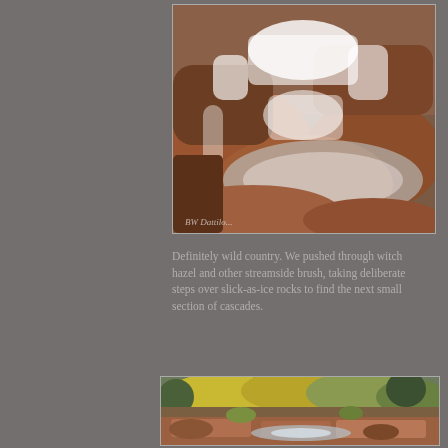[Figure (photo): A waterfall cascading over red/orange rocks with silky smooth water motion, long exposure photography. A photographer's watermark signature is visible in the lower left corner.]
Definitely wild country. We pushed through witch hazel and other streamside brush, taking deliberate steps over slick-as-ice rocks to find the next small section of cascades.
[Figure (photo): A rocky stream bed with yellow and green autumn foliage trees in the background, flat red sandstone rocks in the foreground with a small stream of water flowing through them.]